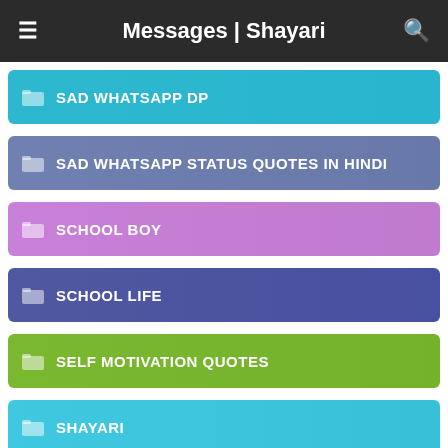Messages | Shayari
SAD WHATSAPP DP
SAD WHATSAPP STATUS QUOTES IN HINDI
SCHOOL BOY
SCHOOL LIFE
SELF MOTIVATION QUOTES
SHAYARI
SHAYARI FOR FRIENDS
SHAYARI HEART TOUCHING